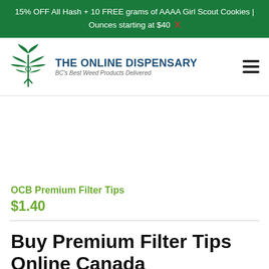15% OFF All Hash + 10 FREE grams of AAAA Girl Scout Cookies | Ounces starting at $40  X
[Figure (logo): Cannabis leaf logo for The Online Dispensary with text 'THE ONLINE DISPENSARY' and subtitle 'BC's Best Weed Products Delivered']
[Figure (photo): Product image area for OCB Premium Filter Tips (blank/white area)]
OCB Premium Filter Tips
$1.40
Buy Premium Filter Tips Online Canada